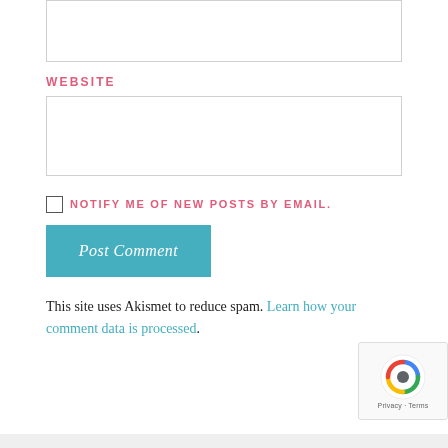WEBSITE
NOTIFY ME OF NEW POSTS BY EMAIL.
Post Comment
This site uses Akismet to reduce spam. Learn how your comment data is processed.